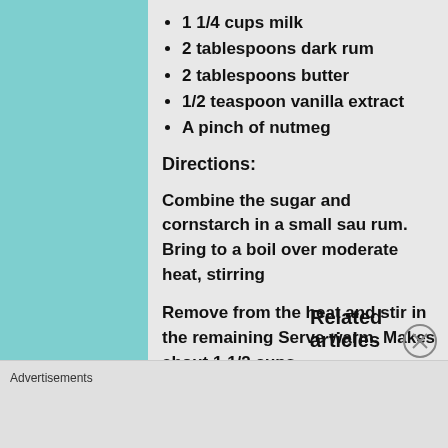1 1/4 cups milk
2 tablespoons dark rum
2 tablespoons butter
1/2 teaspoon vanilla extract
A pinch of nutmeg
Directions:
Combine the sugar and cornstarch in a small sau rum. Bring to a boil over moderate heat, stirring
Remove from the heat and stir in the remaining Serve warm. Makes about 1 1/2 cups.
Related articles
Advertisements